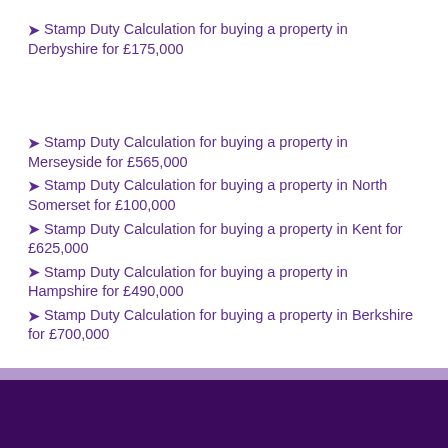Stamp Duty Calculation for buying a property in Derbyshire for £175,000
Stamp Duty Calculation for buying a property in Merseyside for £565,000
Stamp Duty Calculation for buying a property in North Somerset for £100,000
Stamp Duty Calculation for buying a property in Kent for £625,000
Stamp Duty Calculation for buying a property in Hampshire for £490,000
Stamp Duty Calculation for buying a property in Berkshire for £700,000